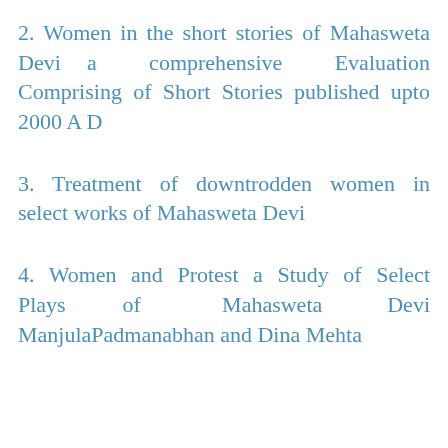2. Women in the short stories of Mahasweta Devi a comprehensive Evaluation Comprising of Short Stories published upto 2000 A D
3. Treatment of downtrodden women in select works of Mahasweta Devi
4. Women and Protest a Study of Select Plays of Mahasweta Devi ManjulaPadmanabhan and Dina Mehta